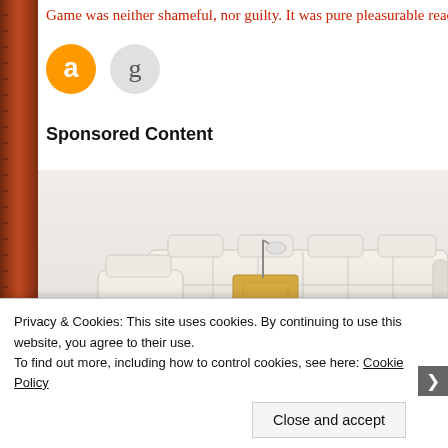Game was neither shameful, nor guilty. It was pure pleasurable read
[Figure (logo): Amazon logo icon (orange circle with white 'a') and Goodreads logo icon (grey circle with 'g')]
Sponsored Content
[Figure (photo): Luxury white leather recliner sofa set with armrest controls, speakers, cushions, and a small side table with a lamp]
Privacy & Cookies: This site uses cookies. By continuing to use this website, you agree to their use.
To find out more, including how to control cookies, see here: Cookie Policy
Close and accept